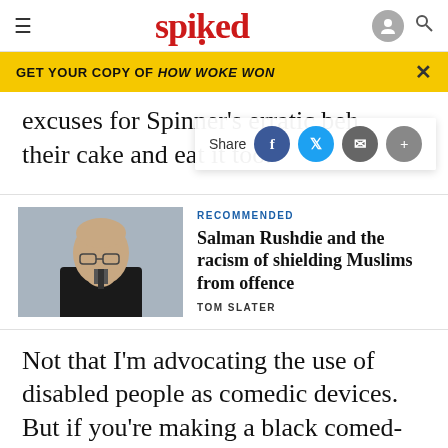spiked
GET YOUR COPY OF HOW WOKE WON
excuses for Spinner's erratic beh... their cake and eat it too.
[Figure (photo): Portrait photo of Salman Rushdie, older man in dark suit, hand on chin, thoughtful pose]
RECOMMENDED
Salman Rushdie and the racism of shielding Muslims from offence
TOM SLATER
Not that I'm advocating the use of disabled people as comedic devices. But if you're making a black comed-
and want to be mean-spirited, then be mean-spirited.
ABOUT   PRIVACY   MANAGE PRIVACY   TERMS